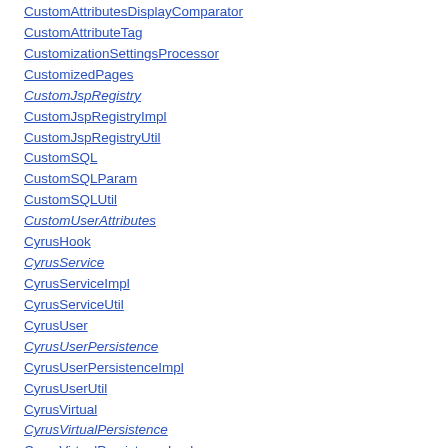CustomAttributesDisplayComparator
CustomAttributeTag
CustomizationSettingsProcessor
CustomizedPages
CustomJspRegistry
CustomJspRegistryImpl
CustomJspRegistryUtil
CustomSQL
CustomSQLParam
CustomSQLUtil
CustomUserAttributes
CyrusHook
CyrusService
CyrusServiceImpl
CyrusServiceUtil
CyrusUser
CyrusUserPersistence
CyrusUserPersistenceImpl
CyrusUserUtil
CyrusVirtual
CyrusVirtualPersistence
CyrusVirtualPersistenceImpl
CyrusVirtualUtil
DAOParamUtil
DataAccess
Database
DatabaseDetector
DatabaseHook
DatabaseUtil
DatabaseValueMapper